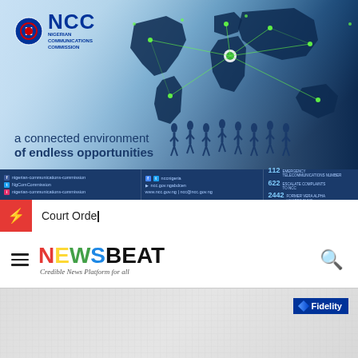[Figure (illustration): NCC (Nigerian Communications Commission) banner advertisement featuring world map with network connectivity nodes, silhouettes of people, tagline 'a connected environment of endless opportunities', NCC logo, and social media/contact information bar at bottom.]
Court Orde_
[Figure (logo): NewsBeat logo with colorful letters N(red), E(yellow), W(green), S(blue), BEAT(black), tagline 'Credible News Platform for all', hamburger menu icon on left, search icon on right.]
[Figure (illustration): Fidelity Bank advertisement banner, light grey textured background with Fidelity logo badge in upper right corner.]